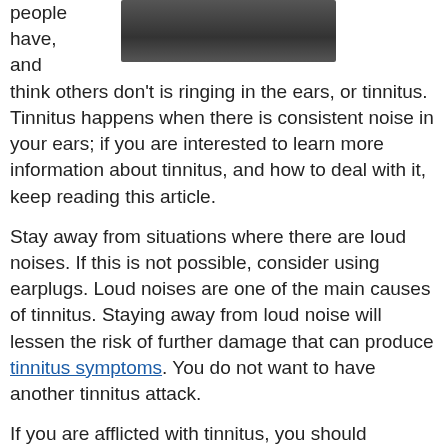[Figure (photo): A dark/shadowed photograph of a person, partially visible at top right of page]
people have, and think others don't is ringing in the ears, or tinnitus. Tinnitus happens when there is consistent noise in your ears; if you are interested to learn more information about tinnitus, and how to deal with it, keep reading this article.
Stay away from situations where there are loud noises. If this is not possible, consider using earplugs. Loud noises are one of the main causes of tinnitus. Staying away from loud noise will lessen the risk of further damage that can produce tinnitus symptoms. You do not want to have another tinnitus attack.
If you are afflicted with tinnitus, you should consider utilizing techniques that help you relax. Yoga and meditation are two great options. Sometimes, tinnitus symptoms worsen because a person has too much stress or anxiety. Yoga and meditation bring calm to your entire body. This reduction in stress will make your tinnitus less likely to attack.